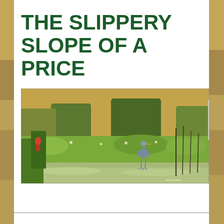THE SLIPPERY SLOPE OF A PRICE
[Figure (photo): A wetland scene with a great blue heron standing among water hyacinth and aquatic vegetation, with tall brown reeds and green vegetation in the background, water visible in the foreground.]